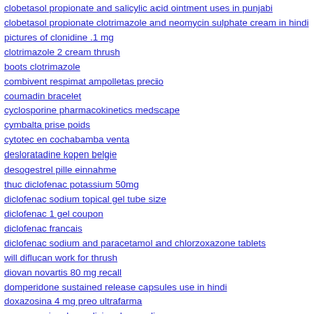clobetasol propionate and salicylic acid ointment uses in punjabi
clobetasol propionate clotrimazole and neomycin sulphate cream in hindi
pictures of clonidine .1 mg
clotrimazole 2 cream thrush
boots clotrimazole
combivent respimat ampolletas precio
coumadin bracelet
cyclosporine pharmacokinetics medscape
cymbalta prise poids
cytotec en cochabamba venta
desloratadine kopen belgie
desogestrel pille einnahme
thuc diclofenac potassium 50mg
diclofenac sodium topical gel tube size
diclofenac 1 gel coupon
diclofenac francais
diclofenac sodium and paracetamol and chlorzoxazone tablets
will diflucan work for thrush
diovan novartis 80 mg recall
domperidone sustained release capsules use in hindi
doxazosina 4 mg preo ultrafarma
para que sirve la medicina doxycycline
superdrug dulcolax
obat dulcolax untuk apa